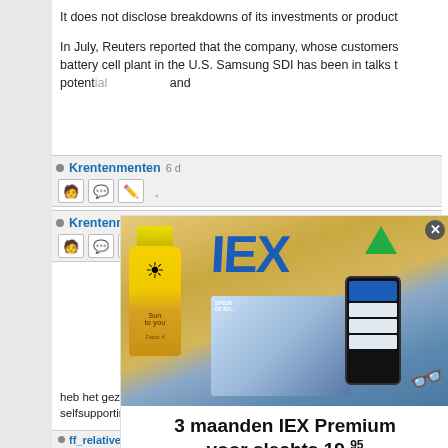It does not disclose breakdowns of its investments or product
In July, Reuters reported that the company, whose customers battery cell plant in the U.S. Samsung SDI has been in talks t potential and
Krentenmenten 6 d
Krentenmenten 6 d
[Figure (photo): IEX advertisement overlay showing a magazine, sunscreen, smartphone and sunglasses on sand. Text: '3 maanden IEX Premium voor slechts 19,95' with a green 'Profiteer nu' button.]
heb het gezien.... Droevịg voor de lokale bewoners, maar da selfsupporting, en daarvoor gelden andere regels / restricties.
ff_relativeron 6 oktober 2021 16:41